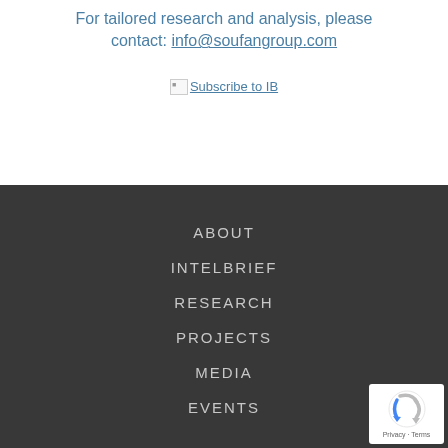For tailored research and analysis, please contact: info@soufangroup.com
[Figure (other): Broken image with Subscribe to IB link text]
ABOUT
INTELBRIEF
RESEARCH
PROJECTS
MEDIA
EVENTS
[Figure (other): reCAPTCHA badge with Privacy and Terms links]